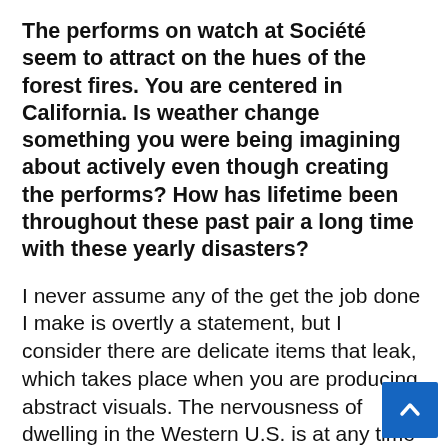The performs on watch at Société seem to attract on the hues of the forest fires. You are centered in California. Is weather change something you were being imagining about actively even though creating the performs? How has lifetime been throughout these past pair a long time with these yearly disasters?
I never assume any of the get the job done I make is overtly a statement, but I consider there are delicate items that leak, which takes place when you are producing abstract visuals. The nervousness of dwelling in the Western U.S. is at any time-current. There's anxiousness about fires and absence of water. Fires have an effect on the mild listed here and the air quality and there are particular situations when it's extremely hard not